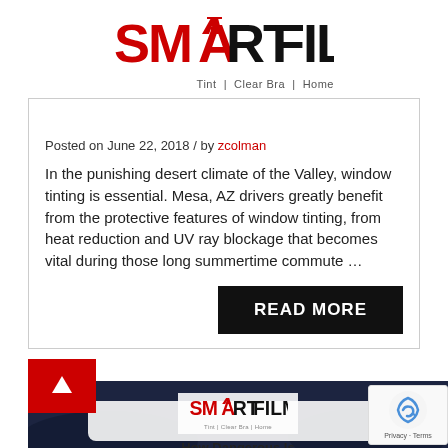[Figure (logo): SmartFilm logo with red and black lettering, tagline: Tint | Clear Bra | Home]
Posted on June 22, 2018 / by zcolman
In the punishing desert climate of the Valley, window tinting is essential. Mesa, AZ drivers greatly benefit from the protective features of window tinting, from heat reduction and UV ray blockage that becomes vital during those long summertime commute …
READ MORE
[Figure (photo): Car with SmartFilm branded banner overlay showing 'How Dangerous Is...' text, with reCAPTCHA privacy badge visible]